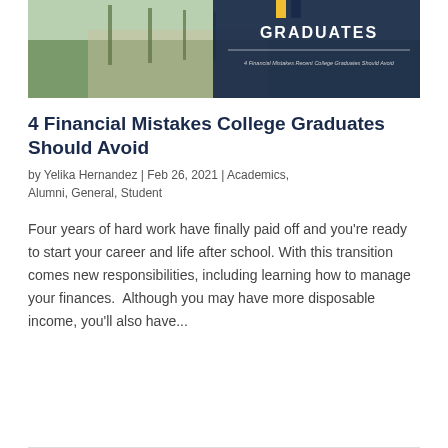[Figure (photo): Hero image showing a college campus walkway with students walking, overlaid with a dark navy banner reading 'GRADUATES' and subtitle '4 Financial Mistakes Recent College Graduates Should Avoid']
4 Financial Mistakes College Graduates Should Avoid
by Yelika Hernandez | Feb 26, 2021 | Academics, Alumni, General, Student
Four years of hard work have finally paid off and you're ready to start your career and life after school. With this transition comes new responsibilities, including learning how to manage your finances.  Although you may have more disposable income, you'll also have...